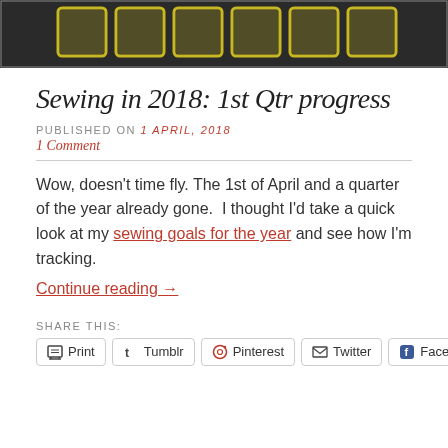[Figure (photo): Blog header image showing yellow outlined squares/rectangles on a dark chalkboard background]
Sewing in 2018: 1st Qtr progress
PUBLISHED ON 1 April, 2018
1 Comment
Wow, doesn't time fly. The 1st of April and a quarter of the year already gone.  I thought I'd take a quick look at my sewing goals for the year and see how I'm tracking.
Continue reading →
SHARE THIS:
Print   Tumblr   Pinterest   Twitter   Facebook